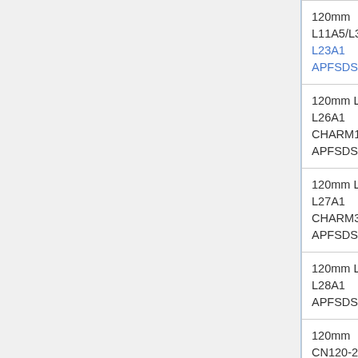| Ammunition | Velocity (m/s) | Penetration (mm) |
| --- | --- | --- |
| 120mm L11A5/L30: L23A1 APFSDS | 3500 | 480 |
| 120mm L30: L26A1 CHARM1 APFSDS | 3500 | 510 |
| 120mm L30: L27A1 CHARM3 APFSDS | 3500 | 610 |
| 120mm L30: L28A1 APFSDS | 3500 | 630 |
| 120mm CN120-26: OFL120 F1 APFSDS-T | 3000 | 690 |